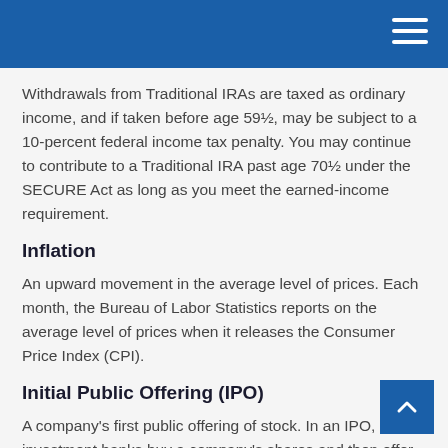Withdrawals from Traditional IRAs are taxed as ordinary income, and if taken before age 59½, may be subject to a 10-percent federal income tax penalty. You may continue to contribute to a Traditional IRA past age 70½ under the SECURE Act as long as you meet the earned-income requirement.
Inflation
An upward movement in the average level of prices. Each month, the Bureau of Labor Statistics reports on the average level of prices when it releases the Consumer Price Index (CPI).
Initial Public Offering (IPO)
A company's first public offering of stock. In an IPO, investment banks buy a company's shares and then offer them to the public to offer investors. An the